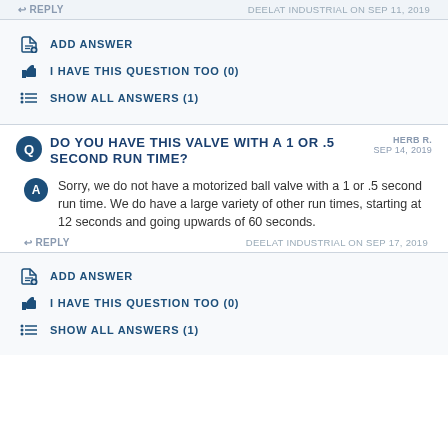REPLY   DEELAT INDUSTRIAL ON SEP 11, 2019
ADD ANSWER
I HAVE THIS QUESTION TOO (0)
SHOW ALL ANSWERS (1)
DO YOU HAVE THIS VALVE WITH A 1 OR .5 SECOND RUN TIME?
HERB R. SEP 14, 2019
Sorry, we do not have a motorized ball valve with a 1 or .5 second run time. We do have a large variety of other run times, starting at 12 seconds and going upwards of 60 seconds.
REPLY   DEELAT INDUSTRIAL ON SEP 17, 2019
ADD ANSWER
I HAVE THIS QUESTION TOO (0)
SHOW ALL ANSWERS (1)